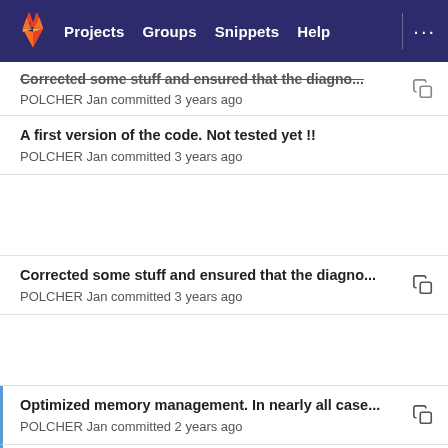Projects  Groups  Snippets  Help
Corrected some stuff and ensured that the diagno...
POLCHER Jan committed 3 years ago
A first version of the code. Not tested yet !!
POLCHER Jan committed 3 years ago
Corrected some stuff and ensured that the diagno...
POLCHER Jan committed 3 years ago
Optimized memory management. In nearly all case...
POLCHER Jan committed 2 years ago
Add the orography and the floodplains
Anthony committed 2 years ago